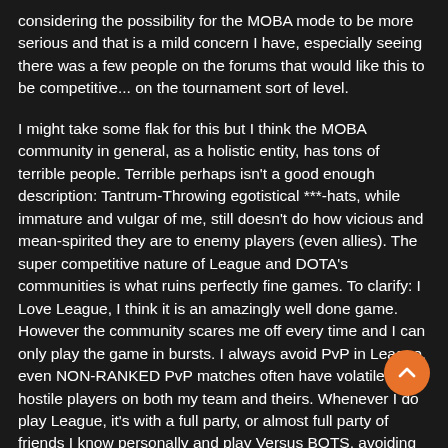considering the possibility for the MOBA mode to be more serious and that is a mild concern I have, especially seeing there was a few people on the forums that would like this to be competitive... on the tournament sort of level.
I might take some flak for this but I think the MOBA community in general, as a holistic entity, has tons of terrible people. Terrible perhaps isn't a good enough description: Tantrum-Throwing egotistical ***-hats, while immature and vulgar of me, still doesn't do how vicious and mean-spirited they are to enemy players (even allies). The super competitive nature of League and DOTA's communities is what ruins perfectly fine games. To clarify: I Love League, I think it is an amazingly well done game. However the community scares me off every time and I can only play the game in bursts. I always avoid PvP in League, even NON-RANKED PvP matches often have volatile and hostile players on both my team and theirs. Whenever I do play League, it's with a full party, or almost full party of friends I know personally and play Versus BOTS, avoiding the community as much as I possibly can.
Maybe this is just me personally but... I don't want DR2 to end